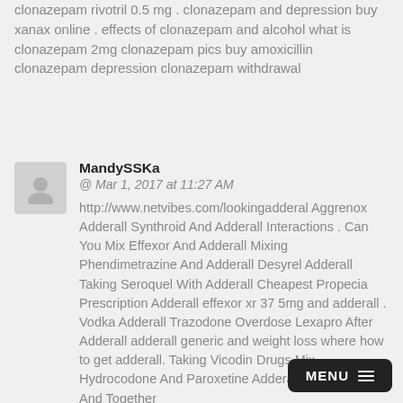clonazepam rivotril 0.5 mg . clonazepam and depression buy xanax online . effects of clonazepam and alcohol what is clonazepam 2mg clonazepam pics buy amoxicillin clonazepam depression clonazepam withdrawal
MandySSKa
@ Mar 1, 2017 at 11:27 AM
http://www.netvibes.com/lookingadderal Aggrenox Adderall Synthroid And Adderall Interactions . Can You Mix Effexor And Adderall Mixing Phendimetrazine And Adderall Desyrel Adderall Taking Seroquel With Adderall Cheapest Propecia Prescription Adderall effexor xr 37 5mg and adderall . Vodka Adderall Trazodone Overdose Lexapro After Adderall adderall generic and weight loss where how to get adderall. Taking Vicodin Drugs Mix Hydrocodone And Paroxetine Adderall Taking Celexa And Together